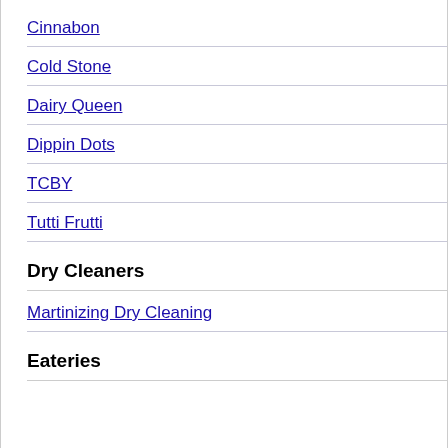Cinnabon
Cold Stone
Dairy Queen
Dippin Dots
TCBY
Tutti Frutti
Dry Cleaners
Martinizing Dry Cleaning
Eateries